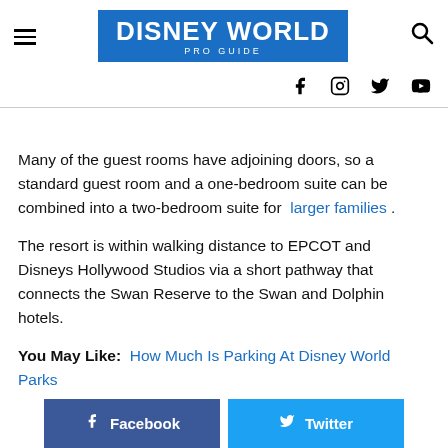DISNEY WORLD PRO GUIDE
Many of the guest rooms have adjoining doors, so a standard guest room and a one-bedroom suite can be combined into a two-bedroom suite for larger families .
The resort is within walking distance to EPCOT and Disneys Hollywood Studios via a short pathway that connects the Swan Reserve to the Swan and Dolphin hotels.
You May Like: How Much Is Parking At Disney World Parks